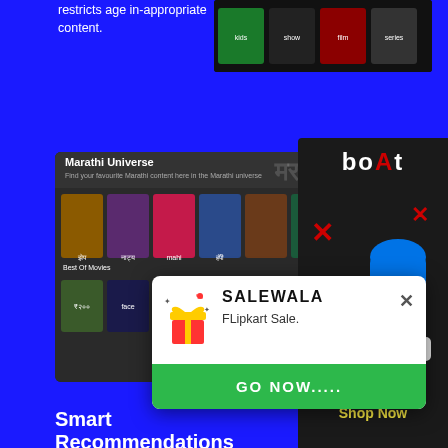restricts age in-appropriate content.
[Figure (screenshot): OTT streaming app screenshot showing children's content thumbnails on dark background]
[Figure (screenshot): Marathi Universe section of streaming app showing movie/show thumbnails grid with Marathi text]
Language Universe
Discover content in 16+ languages across 25+ OTT apps.
[Figure (advertisement): boAt audio products advertisement showing headphones and speaker with red X design. Text: Get Grooving with boAt Signature Sound. Shop Now]
Smart
Recommendations
Discover the latest trending content like India Top 10, Collections and Watchlist. Find content by language and across categories like movies, originals, TV shows, food and documentaries.
[Figure (screenshot): Streaming app browsing interface screenshot]
[Figure (infographic): Salewala popup notification with gift icon. Title: SALEWALA. Text: FLipkart Sale. Button: GO NOW.....]